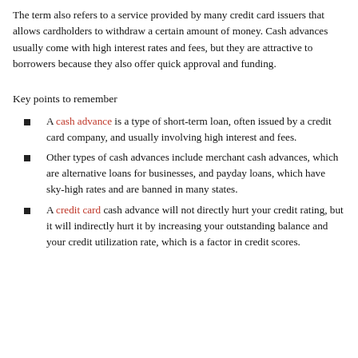The term also refers to a service provided by many credit card issuers that allows cardholders to withdraw a certain amount of money. Cash advances usually come with high interest rates and fees, but they are attractive to borrowers because they also offer quick approval and funding.
Key points to remember
A cash advance is a type of short-term loan, often issued by a credit card company, and usually involving high interest and fees.
Other types of cash advances include merchant cash advances, which are alternative loans for businesses, and payday loans, which have sky-high rates and are banned in many states.
A credit card cash advance will not directly hurt your credit rating, but it will indirectly hurt it by increasing your outstanding balance and your credit utilization rate, which is a factor in credit scores.